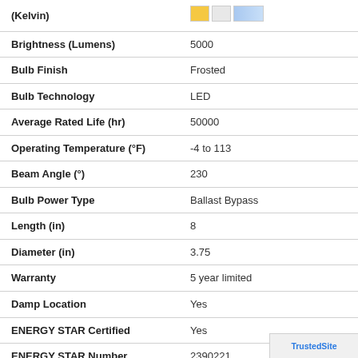| Specification | Value |
| --- | --- |
| (Kelvin) | (color swatches) |
| Brightness (Lumens) | 5000 |
| Bulb Finish | Frosted |
| Bulb Technology | LED |
| Average Rated Life (hr) | 50000 |
| Operating Temperature (°F) | -4 to 113 |
| Beam Angle (°) | 230 |
| Bulb Power Type | Ballast Bypass |
| Length (in) | 8 |
| Diameter (in) | 3.75 |
| Warranty | 5 year limited |
| Damp Location | Yes |
| ENERGY STAR Certified | Yes |
| ENERGY STAR Number | 2390221 |
| Dimmable | Yes |
| Rated for Fully Enclosed Fixtures | Yes |